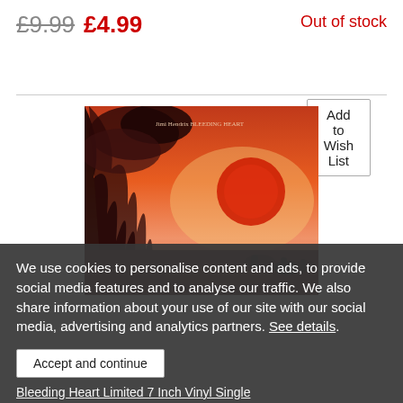£9.99 £4.99
Out of stock
Add to Wish List
[Figure (photo): Album cover for Jimi Hendrix 'Bleeding Heart' - red-toned artwork with smoky sky, red sun, and silhouetted figures]
We use cookies to personalise content and ads, to provide social media features and to analyse our traffic. We also share information about your use of our site with our social media, advertising and analytics partners. See details.
Accept and continue
Bleeding Heart Limited 7 Inch Vinyl Single